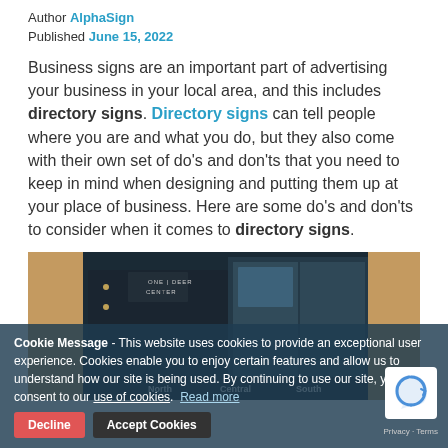Author AlphaSign
Published June 15, 2022
Business signs are an important part of advertising your business in your local area, and this includes directory signs. Directory signs can tell people where you are and what you do, but they also come with their own set of do's and don'ts that you need to keep in mind when designing and putting them up at your place of business. Here are some do's and don'ts to consider when it comes to directory signs.
[Figure (photo): A directory sign display inside a building lobby showing North, Central, and South sections with 'One Deer Center' text visible on a dark panel with wood background]
Cookie Message - This website uses cookies to provide an exceptional user experience. Cookies enable you to enjoy certain features and allow us to understand how our site is being used. By continuing to use our site, you consent to our use of cookies. Read more